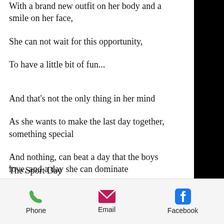With a brand new outfit on her body and a smile on her face,
She can not wait for this opportunity,
To have a little bit of fun...
And that's not the only thing in her mind
As she wants to make the last day together, something special
And nothing, can beat a day that the boys love, and a day she can dominate
The Sport Day
Phone  Email  Facebook